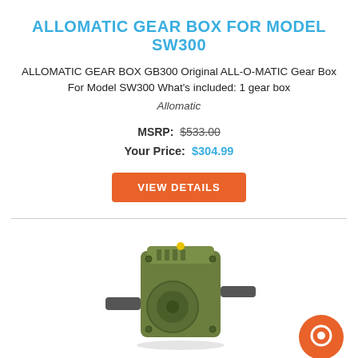ALLOMATIC GEAR BOX FOR MODEL SW300
ALLOMATIC GEAR BOX GB300 Original ALL-O-MATIC Gear Box For Model SW300 What's included: 1 gear box
Allomatic
MSRP: $533.00
Your Price: $304.99
[Figure (other): Orange button labeled VIEW DETAILS]
[Figure (photo): Green metal worm gear box / gear reducer unit with protruding shafts on multiple sides]
ALLOMATIC GEAR BOX FOR MODEL SW350